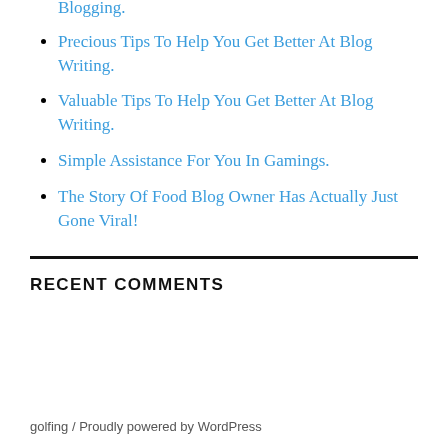Precious Tips To Aid You Improve At Blogging.
Precious Tips To Help You Get Better At Blog Writing.
Valuable Tips To Help You Get Better At Blog Writing.
Simple Assistance For You In Gamings.
The Story Of Food Blog Owner Has Actually Just Gone Viral!
RECENT COMMENTS
golfing / Proudly powered by WordPress